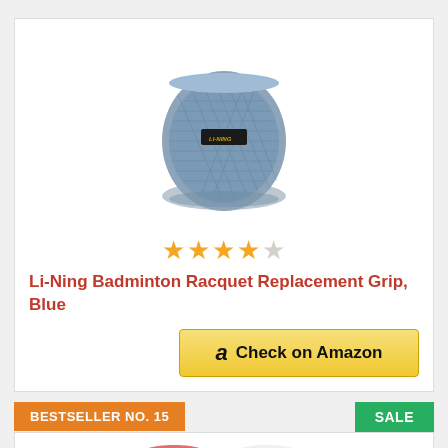[Figure (photo): Li-Ning Badminton Racquet Replacement Grip rolled up in blue/grey color]
[Figure (other): 3.5 out of 5 stars rating shown as orange and grey stars]
Li-Ning Badminton Racquet Replacement Grip, Blue
[Figure (other): Check on Amazon button with Amazon logo]
BESTSELLER NO. 15
SALE
[Figure (photo): Li-Ning replacement grips in pink, white and blue colors]